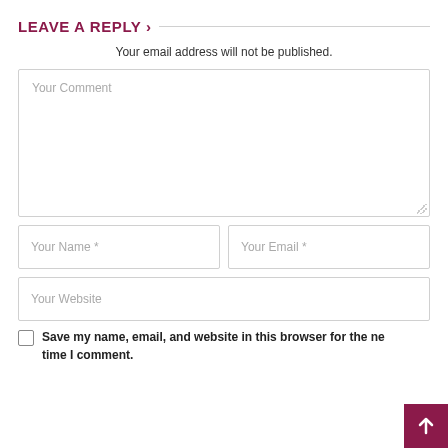LEAVE A REPLY ›
Your email address will not be published.
Your Comment
Your Name *
Your Email *
Your Website
Save my name, email, and website in this browser for the next time I comment.